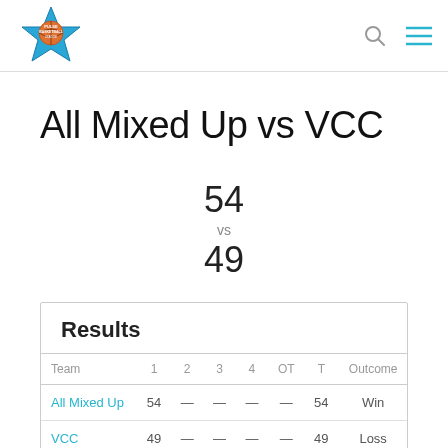Pulse Basketball League
All Mixed Up vs VCC
54
vs
49
| Team | 1 | 2 | 3 | 4 | OT | T | Outcome |
| --- | --- | --- | --- | --- | --- | --- | --- |
| All Mixed Up | 54 | — | — | — | — | 54 | Win |
| VCC | 49 | — | — | — | — | 49 | Loss |